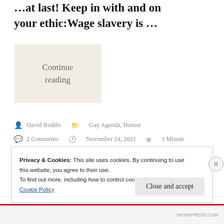…at last! Keep in with and on your ethic:Wage slavery is …
Continue reading
David Roddis   Gay Agenda, Humor   2 Comments   November 24, 2021   1 Minute
Privacy & Cookies: This site uses cookies. By continuing to use this website, you agree to their use.
To find out more, including how to control cookies, see here:
Cookie Policy
Close and accept